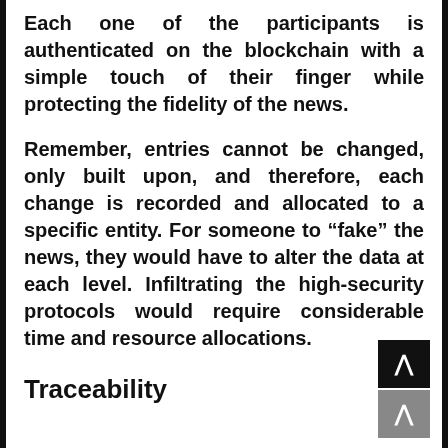Each one of the participants is authenticated on the blockchain with a simple touch of their finger while protecting the fidelity of the news.
Remember, entries cannot be changed, only built upon, and therefore, each change is recorded and allocated to a specific entity. For someone to “fake” the news, they would have to alter the data at each level. Infiltrating the high-security protocols would require considerable time and resource allocations.
Traceability